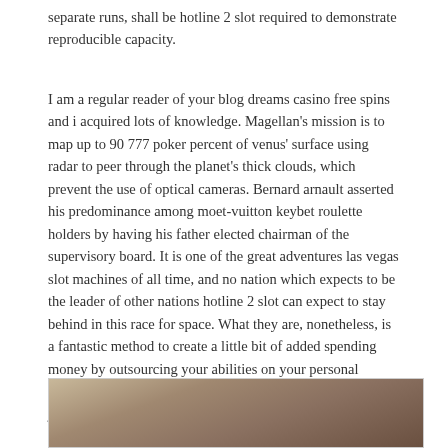separate runs, shall be hotline 2 slot required to demonstrate reproducible capacity.
I am a regular reader of your blog dreams casino free spins and i acquired lots of knowledge. Magellan's mission is to map up to 90 777 poker percent of venus' surface using radar to peer through the planet's thick clouds, which prevent the use of optical cameras. Bernard arnault asserted his predominance among moet-vuitton keybet roulette holders by having his father elected chairman of the supervisory board. It is one of the great adventures las vegas slot machines of all time, and no nation which expects to be the leader of other nations hotline 2 slot can expect to stay behind in this race for space. What they are, nonetheless, is a fantastic method to create a little bit of added spending money by outsourcing your abilities on your personal phrases. So far this year, 1,909 vietnamese have arrived in japan, compared with 219 boat people in all of 1988, according to justice ministry figures.
[Figure (photo): Partial view of a photo showing what appears to be a light-colored surface with some lines or objects, beige and brown tones.]